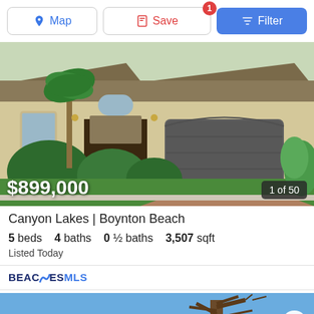[Figure (screenshot): Top navigation bar with Map, Save (badge:1), and Filter buttons]
[Figure (photo): Exterior photo of a large two-story home with a two-car garage, palm trees, and paved driveway. Price overlay: $899,000. Counter overlay: 1 of 50.]
Canyon Lakes | Boynton Beach
5 beds  4 baths  0 ½ baths  3,507 sqft
Listed Today
[Figure (logo): BEACHES MLS logo]
[Figure (photo): Bottom partial listing photo showing a house with red tile roof and a tree, with NEW ON SITE badge and heart icon.]